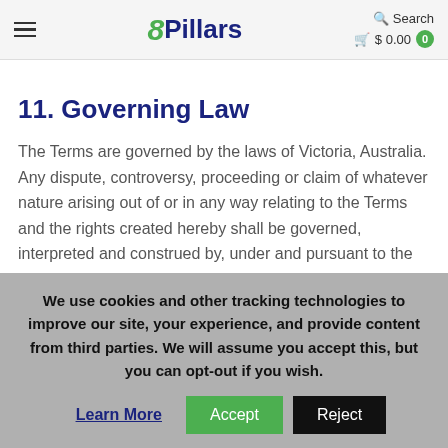8Pillars | Search | $0.00 0
11. Governing Law
The Terms are governed by the laws of Victoria, Australia. Any dispute, controversy, proceeding or claim of whatever nature arising out of or in any way relating to the Terms and the rights created hereby shall be governed, interpreted and construed by, under and pursuant to the laws of Victoria, Australia, without reference to conflict of
We use cookies and other tracking technologies to improve our site, your experience, and provide content from third parties. We will assume you accept this, but you can opt-out if you wish.
Learn More | Accept | Reject